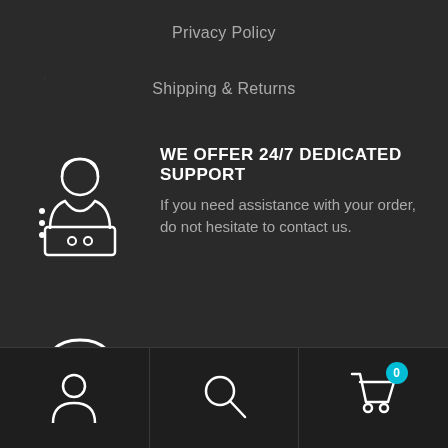Privacy Policy
Shipping & Returns
[Figure (illustration): White line-art icon of a customer support agent sitting at a laptop with headset]
WE OFFER 24/7 DEDICATED SUPPORT
If you need assistance with your order, do not hesitate to contact us.
[Figure (illustration): White line-art icon of headphones with a microphone]
Got Question? Call Us 24/7
(855) 683-7476
Account | Search | Cart (0)